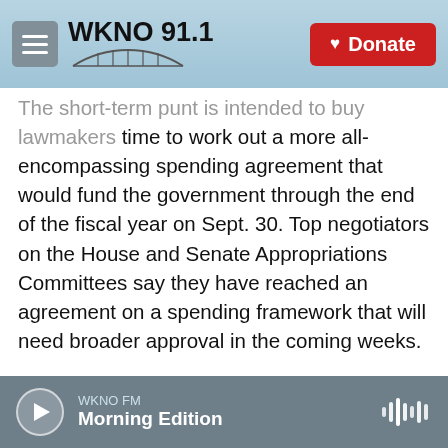WKNO 91.1 | Donate
The short-term punt is intended to buy lawmakers time to work out a more all-encompassing spending agreement that would fund the government through the end of the fiscal year on Sept. 30. Top negotiators on the House and Senate Appropriations Committees say they have reached an agreement on a spending framework that will need broader approval in the coming weeks.

The stop-gap was delayed for several days as a group of Republican senators demanded the chance to vote on amendments restricting how the government spends federal funds. The Senate ultimately rejected several amendments, including
WKNO FM | Morning Edition